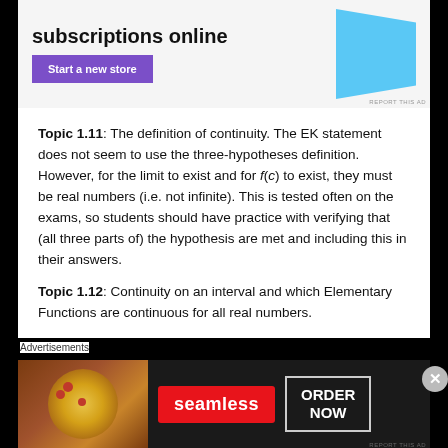[Figure (other): Top advertisement banner with purple 'Start a new store' button and blue shape graphic, with 'subscriptions online' heading]
Topic 1.11: The definition of continuity. The EK statement does not seem to use the three-hypotheses definition. However, for the limit to exist and for f(c) to exist, they must be real numbers (i.e. not infinite). This is tested often on the exams, so students should have practice with verifying that (all three parts of) the hypothesis are met and including this in their answers.
Topic 1.12: Continuity on an interval and which Elementary Functions are continuous for all real numbers.
Advertisements
[Figure (other): Bottom advertisement banner for Seamless food delivery with pizza image, Seamless logo, and ORDER NOW button]